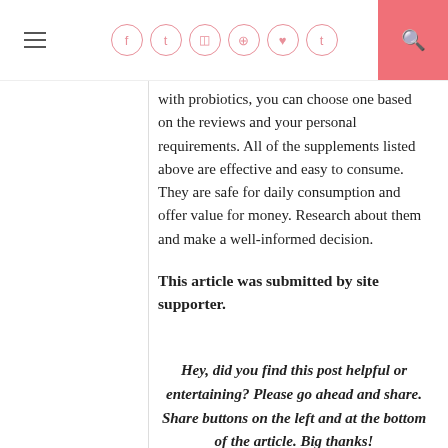≡  f  t  📷  𝒫  ♥  t  🔍
with probiotics, you can choose one based on the reviews and your personal requirements. All of the supplements listed above are effective and easy to consume. They are safe for daily consumption and offer value for money. Research about them and make a well-informed decision.
This article was submitted by site supporter.
Hey, did you find this post helpful or entertaining? Please go ahead and share. Share buttons on the left and at the bottom of the article. Big thanks!